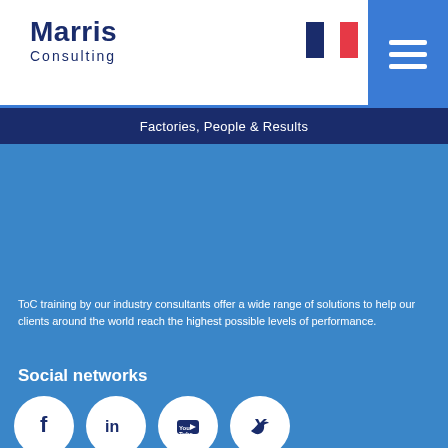[Figure (logo): Marris Consulting logo with dark blue text]
[Figure (illustration): French flag (blue, white, red vertical stripes)]
[Figure (illustration): Hamburger menu icon on blue background]
Factories, People & Results
ToC training by our industry consultants offer a wide range of solutions to help our clients around the world reach the highest possible levels of performance.
Social networks
[Figure (illustration): Social network icons: Facebook, LinkedIn, YouTube, Twitter in white circles]
Contact
Tour Maine Montparnasse, 27éme étage
33, avenue du Maine - 75755 PARIS cedex 15
Tel. : +33 (0)1 71 19 90 40
Contact us via our form